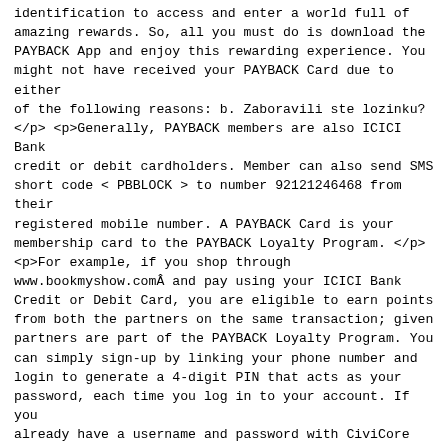identification to access and enter a world full of amazing rewards. So, all you must do is download the PAYBACK App and enjoy this rewarding experience. You might not have received your PAYBACK Card due to either of the following reasons: b. Zaboravili ste lozinku? </p> <p>Generally, PAYBACK members are also ICICI Bank credit or debit cardholders. Member can also send SMS short code < PBBLOCK > to number 92121246468 from their registered mobile number. A PAYBACK Card is your membership card to the PAYBACK Loyalty Program. </p> <p>For example, if you shop through www.bookmyshow.comÂ and pay using your ICICI Bank Credit or Debit Card, you are eligible to earn points from both the partners on the same transaction; given partners are part of the PAYBACK Loyalty Program. You can simply sign-up by linking your phone number and login to generate a 4-digit PIN that acts as your password, each time you log in to your account. If you already have a username and password with CiviCore through your organization's The Big Payback account, please use that information to log-in. Your PAYBACK Points gets updated upon making a transaction and are reflected in your PAYBACK Account. b. Please visit payback.in and update your mailing address and place the redemption order, else you can also call our Contact Center and place the request. Â© Copyright 2019, Loyalty Solutions & Research Pvt Ltd. All Rights Reserved, Please enter Correct Phone / PAYBACK Card Number. Read more. Multiple eCoupons from the same Partner â€" The eCoupon activated first will only be